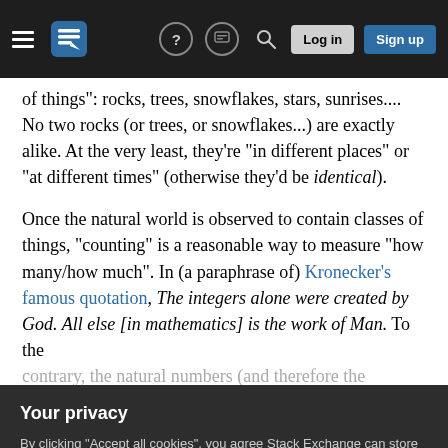Stack Exchange navigation bar with hamburger menu, logo, help, chat, search, Log in, Sign up buttons
of things": rocks, trees, snowflakes, stars, sunrises.... No two rocks (or trees, or snowflakes...) are exactly alike. At the very least, they're "in different places" or "at different times" (otherwise they'd be identical).
Once the natural world is observed to contain classes of things, "counting" is a reasonable way to measure "how many/how much". In (a paraphrase of) Kronecker's famous quotation, The integers alone were created by God. All else [in mathematics] is the work of Man. To the contrary, the natural numbers (and therefore the integers)
Your privacy
By clicking "Accept all cookies", you agree Stack Exchange can store cookies on your device and disclose information in accordance with our Cookie Policy.
An integer is a measure of additive comparison